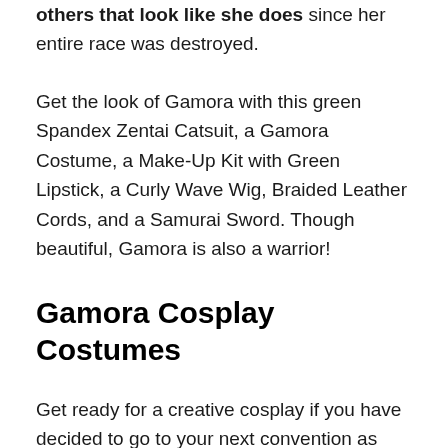others that look like she does since her entire race was destroyed.
Get the look of Gamora with this green Spandex Zentai Catsuit, a Gamora Costume, a Make-Up Kit with Green Lipstick, a Curly Wave Wig, Braided Leather Cords, and a Samurai Sword. Though beautiful, Gamora is also a warrior!
Gamora Cosplay Costumes
Get ready for a creative cosplay if you have decided to go to your next convention as Gamora. She is the beautiful Zehoberei alien you've seen with the Guardians of the Galaxy crew like Star-Lord and Groot. You can get the same look! Creating